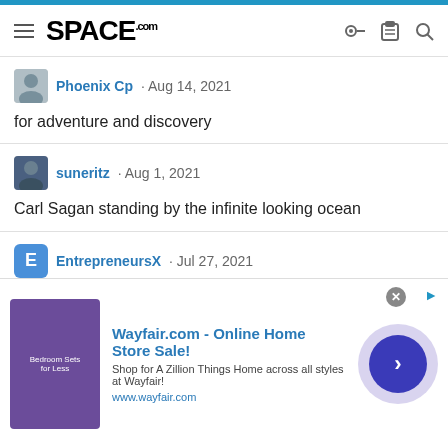SPACE.com
Phoenix Cp · Aug 14, 2021
for adventure and discovery
suneritz · Aug 1, 2021
Carl Sagan standing by the infinite looking ocean
EntrepreneursX · Jul 27, 2021
Hey guys. How you doin'?
[Figure (other): Wayfair.com advertisement banner: 'Wayfair.com - Online Home Store Sale! Shop for A Zillion Things Home across all styles at Wayfair! www.wayfair.com' with a purple bedroom image and a blue arrow button.]